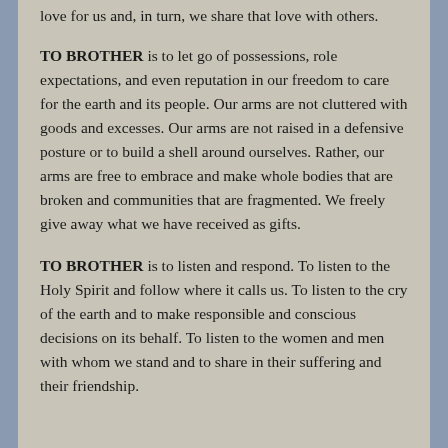love for us and, in turn, we share that love with others.
TO BROTHER is to let go of possessions, role expectations, and even reputation in our freedom to care for the earth and its people. Our arms are not cluttered with goods and excesses. Our arms are not raised in a defensive posture or to build a shell around ourselves. Rather, our arms are free to embrace and make whole bodies that are broken and communities that are fragmented. We freely give away what we have received as gifts.
TO BROTHER is to listen and respond. To listen to the Holy Spirit and follow where it calls us. To listen to the cry of the earth and to make responsible and conscious decisions on its behalf. To listen to the women and men with whom we stand and to share in their suffering and their friendship.